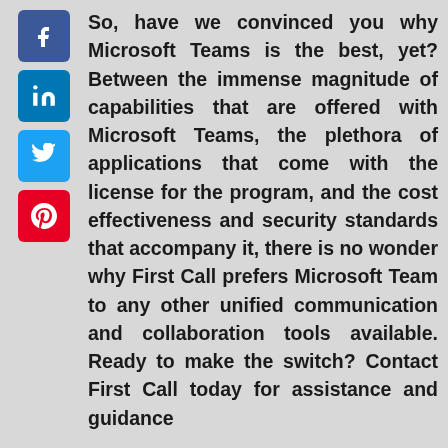[Figure (illustration): Four social media icons stacked vertically on the left: Facebook (blue), LinkedIn (blue), Twitter (light blue), Pinterest (red)]
So, have we convinced you why Microsoft Teams is the best, yet? Between the immense magnitude of capabilities that are offered with Microsoft Teams, the plethora of applications that come with the license for the program, and the cost effectiveness and security standards that accompany it, there is no wonder why First Call prefers Microsoft Team to any other unified communication and collaboration tools available. Ready to make the switch? Contact First Call today for assistance and guidance